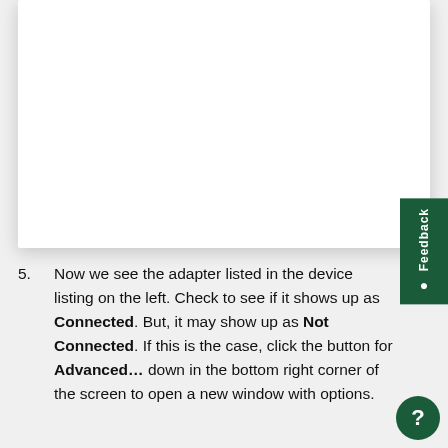[Figure (screenshot): White card/panel area representing a screenshot placeholder at the top of the page]
Now we see the adapter listed in the device listing on the left. Check to see if it shows up as Connected. But, it may show up as Not Connected. If this is the case, click the button for Advanced... down in the bottom right corner of the screen to open a new window with options.